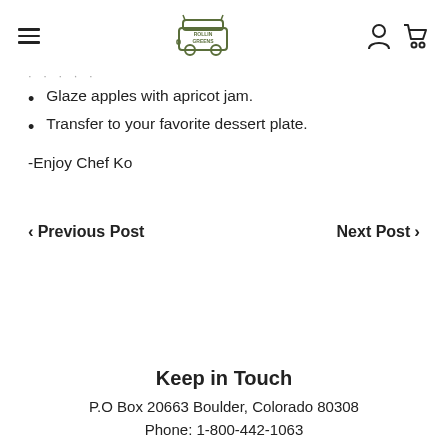Rollin Greens — navigation header with hamburger menu and logo
Glaze apples with apricot jam.
Transfer to your favorite dessert plate.
-Enjoy Chef Ko
< Previous Post    Next Post >
Keep in Touch
P.O Box 20663 Boulder, Colorado 80308
Phone: 1-800-442-1063